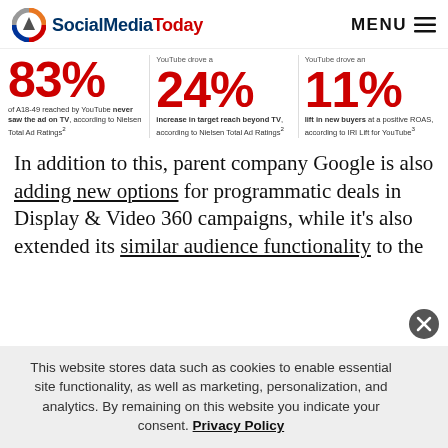SocialMediaToday  MENU
83% of A18-49 reached by YouTube never saw the ad on TV, according to Nielsen Total Ad Ratings²
YouTube drove a 24% increase in target reach beyond TV, according to Nielsen Total Ad Ratings²
YouTube drove an 11% lift in new buyers at a positive ROAS, according to IRI Lift for YouTube³
In addition to this, parent company Google is also adding new options for programmatic deals in Display & Video 360 campaigns, while it's also extended its similar audience functionality to the same, for more advanced video advertisers…
This website stores data such as cookies to enable essential site functionality, as well as marketing, personalization, and analytics. By remaining on this website you indicate your consent. Privacy Policy